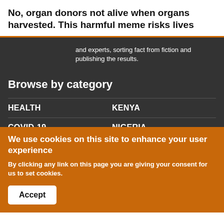No, organ donors not alive when organs harvested. This harmful meme risks lives
and experts, sorting fact from fiction and publishing the results.
Browse by category
HEALTH
KENYA
COVID-19
NIGERIA
EDUCATION
SENEGAL
CRIME
SOUTH AFRICA
We use cookies on this site to enhance your user experience
By clicking any link on this page you are giving your consent for us to set cookies.